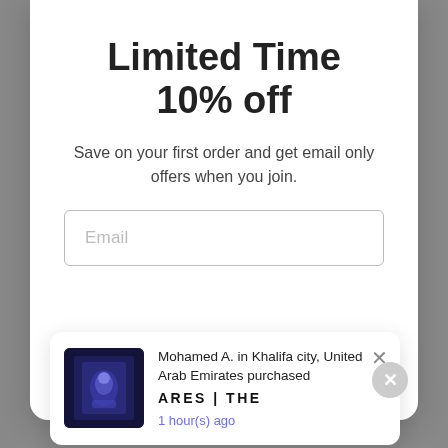Limited Time
10% off
Save on your first order and get email only offers when you join.
Email
[Figure (screenshot): Notification popup showing: Mohamed A. in Khalifa city, United Arab Emirates purchased ARES | THE — 1 hour(s) ago, with a product image on the left.]